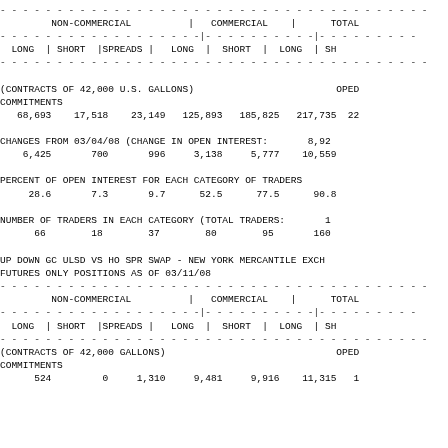| NON-COMMERCIAL LONG | NON-COMMERCIAL SHORT | SPREADS | COMMERCIAL LONG | COMMERCIAL SHORT | TOTAL LONG | TOTAL SHORT |
| --- | --- | --- | --- | --- | --- | --- |
| 68,693 | 17,518 | 23,149 | 125,893 | 185,825 | 217,735 | 22... |
| 6,425 | 700 | 996 | 3,138 | 5,777 | 10,559 | ... |
| 28.6 | 7.3 | 9.7 | 52.5 | 77.5 | 90.8 | ... |
| 66 | 18 | 37 | 80 | 95 | 160 | ... |
UP DOWN GC ULSD VS HO SPR SWAP - NEW YORK MERCANTILE EXCH
FUTURES ONLY POSITIONS AS OF 03/11/08
| NON-COMMERCIAL LONG | NON-COMMERCIAL SHORT | SPREADS | COMMERCIAL LONG | COMMERCIAL SHORT | TOTAL LONG | TOTAL SHORT |
| --- | --- | --- | --- | --- | --- | --- |
| 524 | 0 | 1,310 | 9,481 | 9,916 | 11,315 | 1... |